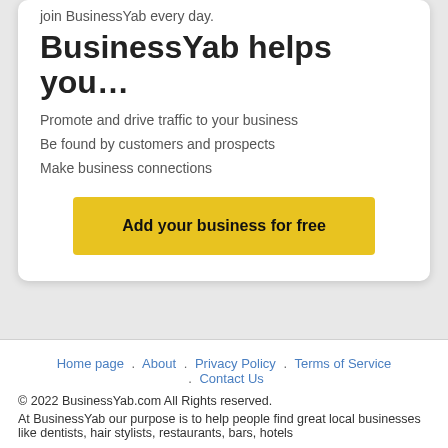join BusinessYab every day.
BusinessYab helps you…
Promote and drive traffic to your business
Be found by customers and prospects
Make business connections
Add your business for free
Home page . About . Privacy Policy . Terms of Service . Contact Us
© 2022 BusinessYab.com All Rights reserved.
At BusinessYab our purpose is to help people find great local businesses like dentists, hair stylists, restaurants, bars, hotels